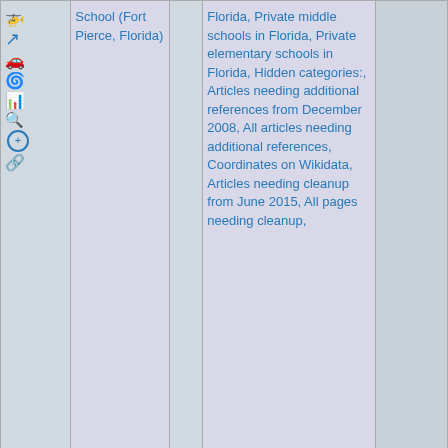| Icons | Name | Link | Categories | Photo |
| --- | --- | --- | --- | --- |
| [icons] | School (Fort Pierce, Florida) |  | Florida, Private middle schools in Florida, Private elementary schools in Florida, Hidden categories:, Articles needing additional references from December 2008, All articles needing additional references, Coordinates on Wikidata, Articles needing cleanup from June 2015, All pages needing cleanup, |  |
| 4: 1.9mi [icons] | Jules Frere House | [link] | Houses on the National Register of Historic Places in | [photo] |